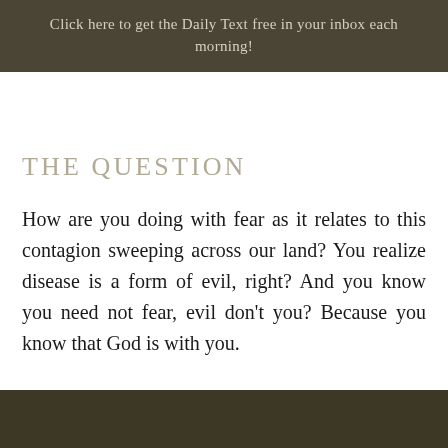Click here to get the Daily Text free in your inbox each morning!
THE QUESTION
How are you doing with fear as it relates to this contagion sweeping across our land? You realize disease is a form of evil, right? And you know you need not fear, evil don't you? Because you know that God is with you.